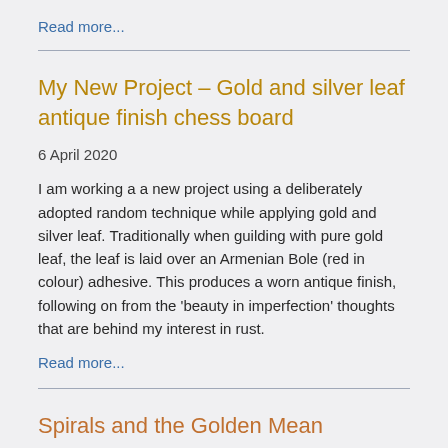Read more...
My New Project – Gold and silver leaf antique finish chess board
6 April 2020
I am working a a new project using a deliberately adopted random technique while applying gold and silver leaf. Traditionally when guilding with pure gold leaf, the leaf is laid over an Armenian Bole (red in colour) adhesive. This produces a worn antique finish, following on from the 'beauty in imperfection' thoughts that are behind my interest in rust.
Read more...
Spirals and the Golden Mean
3 December 2019